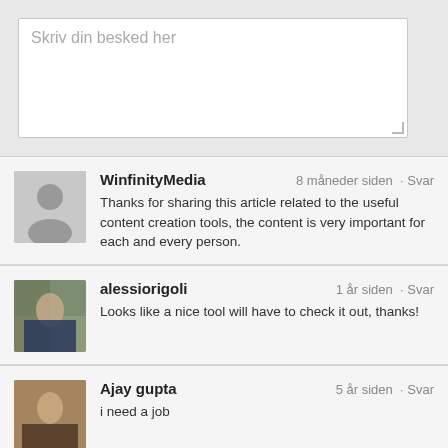[Figure (screenshot): Text input area with placeholder text 'Skriv din besked her']
WinfinityMedia · 8 måneder siden · Svar
Thanks for sharing this article related to the useful content creation tools, the content is very important for each and every person.
alessiorigoli · 1 år siden · Svar
Looks like a nice tool will have to check it out, thanks!
Ajay gupta · 5 år siden · Svar
i need a job